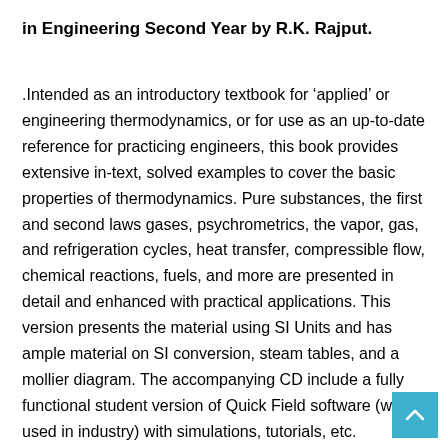in Engineering Second Year by R.K. Rajput.
.Intended as an introductory textbook for ‘applied’ or engineering thermodynamics, or for use as an up-to-date reference for practicing engineers, this book provides extensive in-text, solved examples to cover the basic properties of thermodynamics. Pure substances, the first and second laws gases, psychrometrics, the vapor, gas, and refrigeration cycles, heat transfer, compressible flow, chemical reactions, fuels, and more are presented in detail and enhanced with practical applications. This version presents the material using SI Units and has ample material on SI conversion, steam tables, and a mollier diagram. The accompanying CD include a fully functional student version of Quick Field software (widely used in industry) with simulations, tutorials, etc.